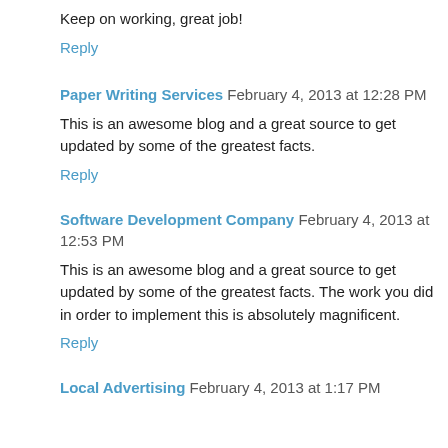Keep on working, great job!
Reply
Paper Writing Services  February 4, 2013 at 12:28 PM
This is an awesome blog and a great source to get updated by some of the greatest facts.
Reply
Software Development Company  February 4, 2013 at 12:53 PM
This is an awesome blog and a great source to get updated by some of the greatest facts. The work you did in order to implement this is absolutely magnificent.
Reply
Local Advertising  February 4, 2013 at 1:17 PM